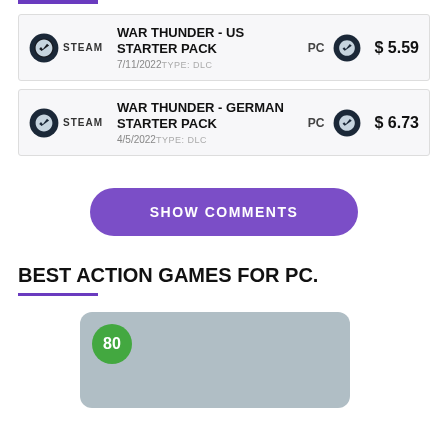WAR THUNDER - US STARTER PACK | PC | $5.59 | 7/11/2022 TYPE: DLC
WAR THUNDER - GERMAN STARTER PACK | PC | $6.73 | 4/5/2022 TYPE: DLC
SHOW COMMENTS
BEST ACTION GAMES FOR PC.
[Figure (other): Game card with score badge showing 80 on a gray-blue rounded rectangle background]